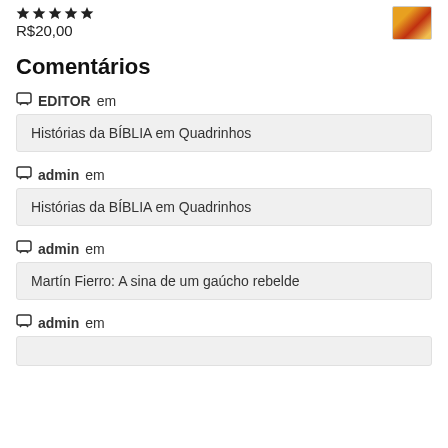R$20,00
Comentários
EDITOR em
Histórias da BÍBLIA em Quadrinhos
admin em
Histórias da BÍBLIA em Quadrinhos
admin em
Martín Fierro: A sina de um gaúcho rebelde
admin em